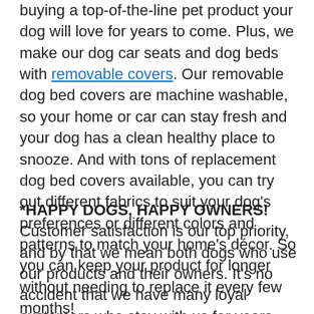buying a top-of-the-line pet product your dog will love for years to come. Plus, we make our dog car seats and dog beds with removable covers. Our removable dog bed covers are machine washable, so your home or car can stay fresh and your dog has a clean healthy place to snooze. And with tons of replacement dog bed covers available, you can try out different fabrics to suit your dog's preferences or different colors and patterns to match your home's décor. So you can keep your product for longer without needing to replace it every few months!
*HAPPY DOGS, HAPPY OWNERS! Customer satisfaction is our top priority, and by that we mean both dogs who use our products and their owners. It's no accident that we have many loyal customers who stay with us for years. Don't take our word for it – check out the 1000s of 5-star reviews and positive [flag] monials from satisfied customers and find out